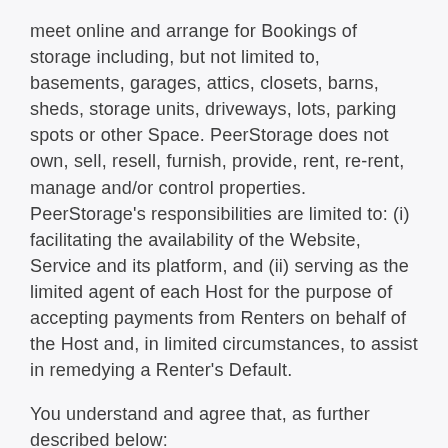meet online and arrange for Bookings of storage including, but not limited to, basements, garages, attics, closets, barns, sheds, storage units, driveways, lots, parking spots or other Space. PeerStorage does not own, sell, resell, furnish, provide, rent, re-rent, manage and/or control properties. PeerStorage's responsibilities are limited to: (i) facilitating the availability of the Website, Service and its platform, and (ii) serving as the limited agent of each Host for the purpose of accepting payments from Renters on behalf of the Host and, in limited circumstances, to assist in remedying a Renter's Default.
You understand and agree that, as further described below: